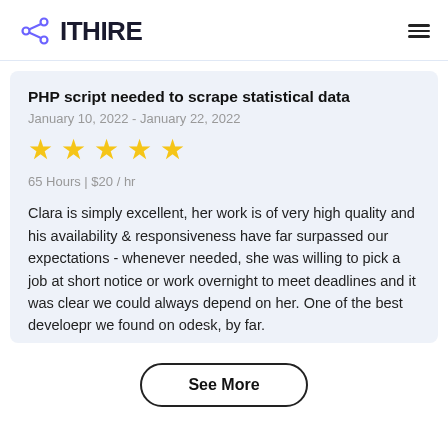ITHIRE
PHP script needed to scrape statistical data
January 10, 2022 - January 22, 2022
[Figure (other): 5 gold star rating]
65 Hours | $20 / hr
Clara is simply excellent, her work is of very high quality and his availability & responsiveness have far surpassed our expectations - whenever needed, she was willing to pick a job at short notice or work overnight to meet deadlines and it was clear we could always depend on her. One of the best develoepr we found on odesk, by far.
See More